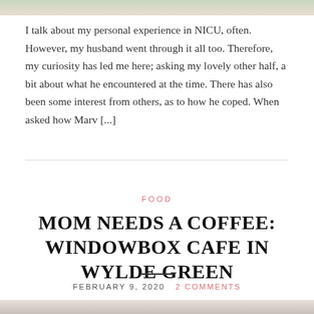[Figure (photo): Partial top edge of a photo, showing soft greens and warm tones, likely a plant or nature scene]
I talk about my personal experience in NICU, often. However, my husband went through it all too. Therefore, my curiosity has led me here; asking my lovely other half, a bit about what he encountered at the time. There has also been some interest from others, as to how he coped. When asked how Marv [...]
FOOD
MOM NEEDS A COFFEE: WINDOWBOX CAFE IN WYLDE GREEN
FEBRUARY 9, 2020   2 COMMENTS
[Figure (photo): Bottom edge of a photo partially visible at the bottom of the page]